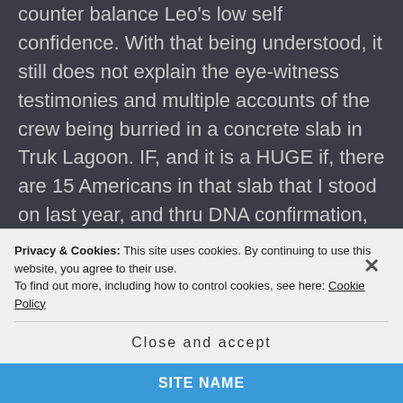counter balance Leo's low self confidence. With that being understood, it still does not explain the eye-witness testimonies and multiple accounts of the crew being burried in a concrete slab in Truk Lagoon. IF, and it is a HUGE if, there are 15 Americans in that slab that I stood on last year, and thru DNA confirmation, then, perhaps the crew of the Hawaii Clipper met a fate more gruesome than crashing ar sea. Stay tuned!
Privacy & Cookies: This site uses cookies. By continuing to use this website, you agree to their use.
To find out more, including how to control cookies, see here: Cookie Policy
Close and accept